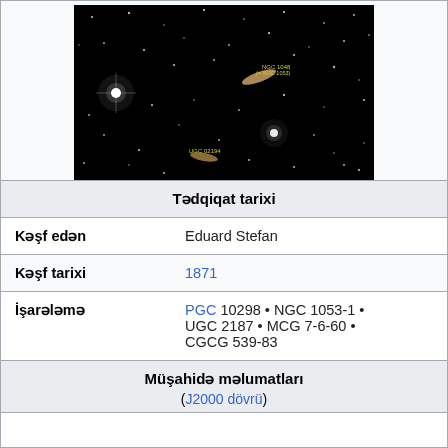[Figure (photo): Astronomical image of a star field with galaxies labeled NGC 1048 (= NGC 1053) and UGC 02194, on a black background with many white stars.]
| Tədqiqat tarixi |  |
| Kəşf edən | Eduard Stefan |
| Kəşf tarixi | 1871 |
| İşarələmə | PGC 10298 • NGC 1053-1 • UGC 2187 • MCG 7-6-60 • CGCG 539-83 |
| Müşahidə məlumatları |  |
|  | (J2000 dövrü) |